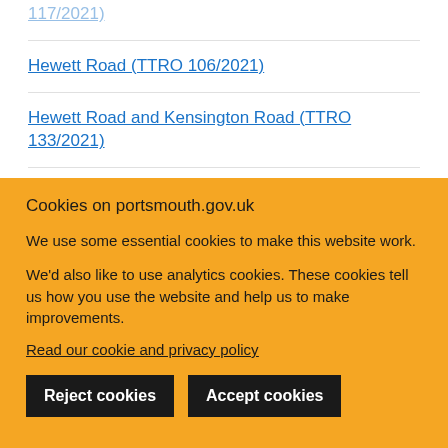117/2021)
Hewett Road (TTRO 106/2021)
Hewett Road and Kensington Road (TTRO 133/2021)
High Street – Cosham (TTRO 38/2021)
High Street – Cosham (TTRO 39/2021) [partially visible]
Cookies on portsmouth.gov.uk
We use some essential cookies to make this website work.
We'd also like to use analytics cookies. These cookies tell us how you use the website and help us to make improvements.
Read our cookie and privacy policy
Reject cookies | Accept cookies